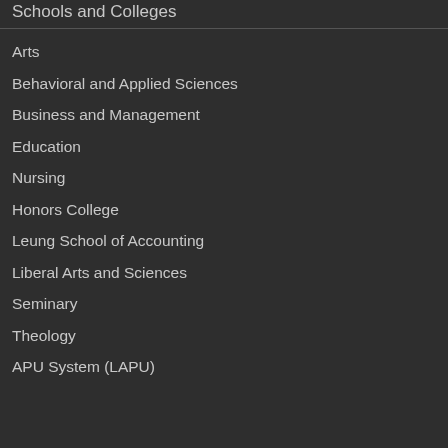Schools and Colleges
Arts
Behavioral and Applied Sciences
Business and Management
Education
Nursing
Honors College
Leung School of Accounting
Liberal Arts and Sciences
Seminary
Theology
APU System (LAPU)